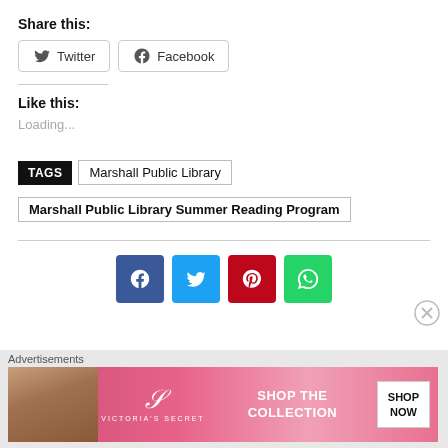Share this:
Twitter  Facebook
Like this:
Loading...
TAGS  Marshall Public Library  Marshall Public Library Summer Reading Program
[Figure (infographic): Social share icons: Facebook (blue), Twitter (light blue), Pinterest (red), WhatsApp (green)]
Advertisements
[Figure (infographic): Victoria's Secret advertisement banner: Shop The Collection - Shop Now]